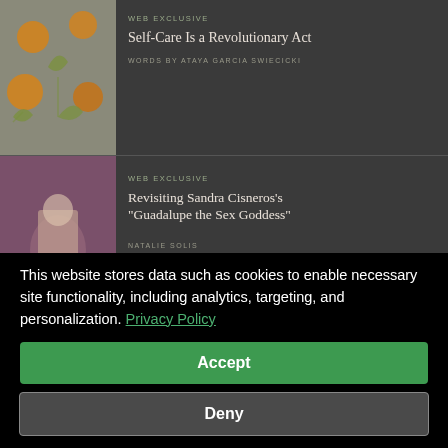[Figure (illustration): Thumbnail image with botanical/decorative motif featuring orange fruits and green leaves on grey background]
WEB EXCLUSIVE
Self-Care Is a Revolutionary Act
WORDS BY ATAYA GARCIA SWIECICKI
[Figure (photo): Thumbnail showing hands holding what appears to be a religious icon or book, pink/mauve toned]
WEB EXCLUSIVE
Revisiting Sandra Cisneros's "Guadalupe the Sex Goddess"
NATALIE SOLIS
This website stores data such as cookies to enable necessary site functionality, including analytics, targeting, and personalization. Privacy Policy
Accept
Deny